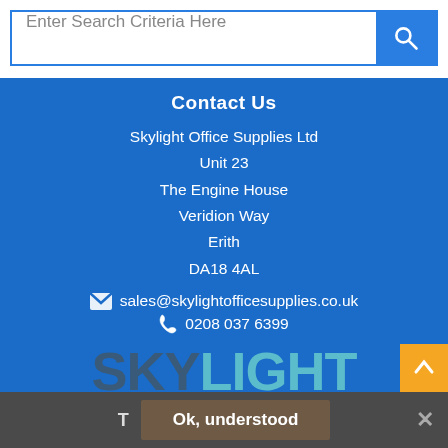[Figure (screenshot): Search bar input with placeholder text 'Enter Search Criteria Here' and a blue search button with magnifying glass icon]
Contact Us
Skylight Office Supplies Ltd
Unit 23
The Engine House
Veridion Way
Erith
DA18 4AL
✉ sales@skylightofficesupplies.co.uk
☎ 0208 037 6399
[Figure (logo): Skylight Office Supplies logo with large SKYLIGHT text and small icons row]
Ok, understood
T  Ok, understood  ×